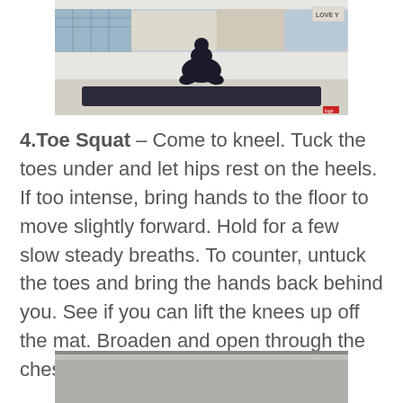[Figure (photo): Person performing toe squat yoga pose on a dark mat, with cushions and wall visible in background]
4.Toe Squat – Come to kneel. Tuck the toes under and let hips rest on the heels. If too intense, bring hands to the floor to move slightly forward. Hold for a few slow steady breaths. To counter, untuck the toes and bring the hands back behind you. See if you can lift the knees up off the mat. Broaden and open through the chest.
[Figure (photo): Partial photo of yoga mat on floor, bottom of page]